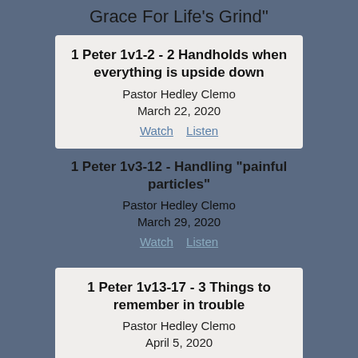Grace For Life's Grind"
1 Peter 1v1-2 - 2 Handholds when everything is upside down
Pastor Hedley Clemo
March 22, 2020
Watch   Listen
1 Peter 1v3-12 - Handling "painful particles"
Pastor Hedley Clemo
March 29, 2020
Watch   Listen
1 Peter 1v13-17 - 3 Things to remember in trouble
Pastor Hedley Clemo
April 5, 2020
Watch   Listen
1 Peter 1v17-19 - What should